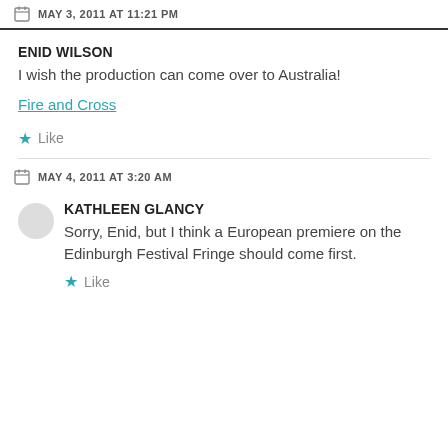MAY 3, 2011 AT 11:21 PM
ENID WILSON
I wish the production can come over to Australia!
Fire and Cross
Like
MAY 4, 2011 AT 3:20 AM
KATHLEEN GLANCY
Sorry, Enid, but I think a European premiere on the Edinburgh Festival Fringe should come first.
Like